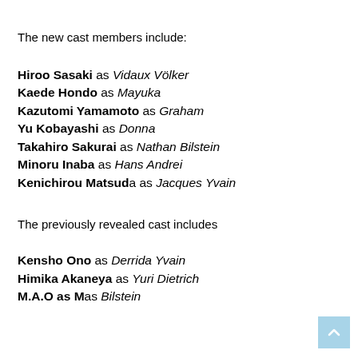The new cast members include:
Hiroo Sasaki as Vidaux Völker
Kaede Hondo as Mayuka
Kazutomi Yamamoto as Graham
Yu Kobayashi as Donna
Takahiro Sakurai as Nathan Bilstein
Minoru Inaba as Hans Andrei
Kenichirou Matsuda as Jacques Yvain
The previously revealed cast includes
Kensho Ono as Derrida Yvain
Himika Akaneya as Yuri Dietrich